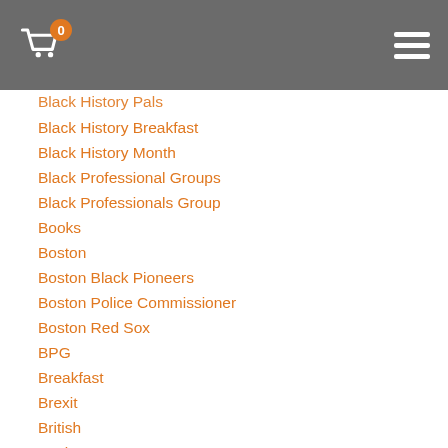Navigation header with cart icon (badge: 0) and hamburger menu
Black History Breakfast
Black History Month
Black Professional Groups
Black Professionals Group
Books
Boston
Boston Black Pioneers
Boston Police Commissioner
Boston Red Sox
BPG
Breakfast
Brexit
British
Business Contract
California State San Marcos
Career Strategies
Career Success
Caribbean
Carlita Cotton
Carole Copeland Thomas
Celebrating Self Worth
Certified International Tour Manager
CFA
Chanukah
Charles Street AME Church